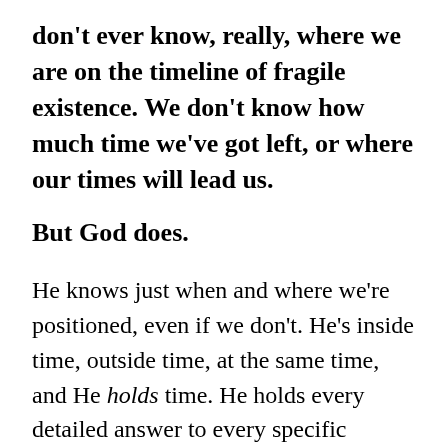don't ever know, really, where we are on the timeline of fragile existence. We don't know how much time we've got left, or where our times will lead us.
But God does.
He knows just when and where we're positioned, even if we don't. He's inside time, outside time, at the same time, and He holds time. He holds every detailed answer to every specific question. He holds planes in the air and us in our seats and He holds our very lives.